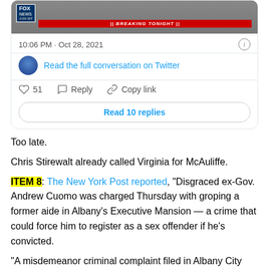[Figure (screenshot): Screenshot of a tweet showing Fox News Breaking Tonight segment thumbnail, timestamp 10:06 PM · Oct 28, 2021, with 'Read the full conversation on Twitter' link, 51 likes, Reply, Copy link actions, and 'Read 10 replies' button.]
Too late.
Chris Stirewalt already called Virginia for McAuliffe.
ITEM 8: The New York Post reported, "Disgraced ex-Gov. Andrew Cuomo was charged Thursday with groping a former aide in Albany's Executive Mansion — a crime that could force him to register as a sex offender if he's convicted.
"A misdemeanor criminal complaint filed in Albany City Court alleges that Cuomo, 63, 'did intentionally, and for no legitimate purpose, forcibly place his hand under the blouse shirt of the victim, and contact the victim's bare breast.'"